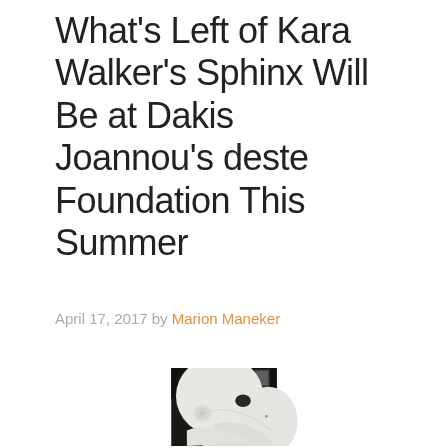What's Left of Kara Walker's Sphinx Will Be at Dakis Joannou's deste Foundation This Summer
April 17, 2017 by Marion Maneker
[Figure (photo): Close-up photograph of Kara Walker's white sugar sphinx sculpture in a dark industrial space. The large white sculptural form dominates the frame showing the textured sugar surface with rounded organic forms. The background shows a dark warehouse-like space with some windows visible.]